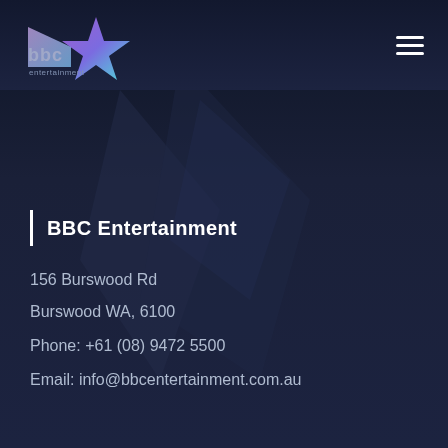[Figure (logo): BBC Entertainment logo — stylized star with purple/pink gradient and 'bbc entertainment' text below in white]
BBC Entertainment
156 Burswood Rd
Burswood WA, 6100
Phone: +61 (08) 9472 5500
Email: info@bbcentertainment.com.au